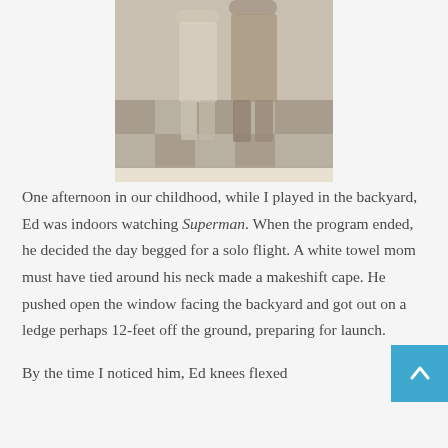[Figure (photo): Black and white vintage photograph showing two people standing together on a checkered floor, cropped at top — only their torsos and legs visible.]
One afternoon in our childhood, while I played in the backyard, Ed was indoors watching Superman. When the program ended, he decided the day begged for a solo flight. A white towel mom must have tied around his neck made a makeshift cape. He pushed open the window facing the backyard and got out on a ledge perhaps 12-feet off the ground, preparing for launch.
By the time I noticed him, Ed knees flexed...